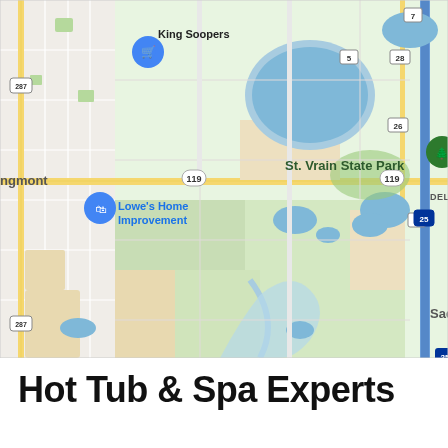[Figure (map): Google Maps screenshot showing the area around Longmont, Colorado. Visible landmarks include King Soopers (with shopping cart pin), Lowe's Home Improvement (with shopping bag pin), St. Vrain State Park (with green tree pin), and DEL CAMINO area. Roads shown include US-287, CO-119, CO-7, CO-26, CO-28, CO-5, CO-87, and I-25. Blue water bodies (St. Vrain State Park reservoirs) are visible in the upper center. The map shows a green and tan color scheme typical of Google Maps.]
Hot Tub & Spa Experts